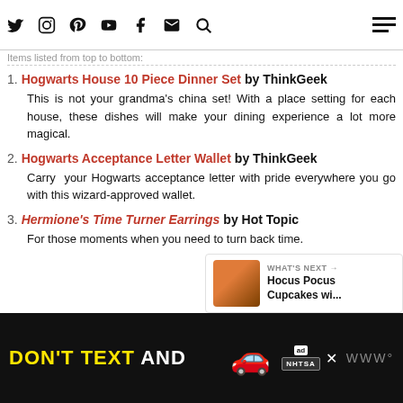Social nav icons: Twitter, Instagram, Pinterest, YouTube, Facebook, Email, Search; Hamburger menu
Items listed from top to bottom:
1. Hogwarts House 10 Piece Dinner Set by ThinkGeek — This is not your grandma's china set! With a place setting for each house, these dishes will make your dining experience a lot more magical.
2. Hogwarts Acceptance Letter Wallet by ThinkGeek — Carry your Hogwarts acceptance letter with pride everywhere you go with this wizard-approved wallet.
3. Hermione's Time Turner Earrings by Hot Topic — For those moments when you need to turn back time.
[Figure (screenshot): Share button (circular white button with share icon)]
[Figure (screenshot): WHAT'S NEXT card showing Hocus Pocus Cupcakes wi... with thumbnail image]
[Figure (screenshot): Ad banner: DON'T TEXT AND [car emoji] with NHTSA branding on black background]